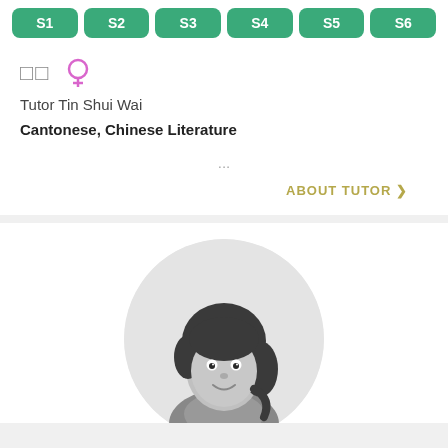S1 S2 S3 S4 S5 S6
□□ ♀
Tutor Tin Shui Wai
Cantonese, Chinese Literature
...
ABOUT TUTOR >
[Figure (illustration): Cartoon illustration of a female tutor with dark hair, smiling, shown from the shoulders up, inside a light gray circular background]